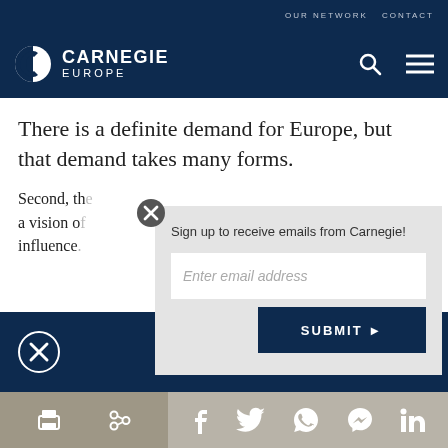OUR NETWORK   CONTACT
[Figure (logo): Carnegie Europe logo — stylized C/globe icon with text CARNEGIE EUROPE]
There is a definite demand for Europe, but that demand takes many forms.
Second, th[ere is] a vision o[f Europe's] influence[...]
[Figure (screenshot): Email sign-up modal overlay with close button, text 'Sign up to receive emails from Carnegie!', email input field, and SUBMIT button]
[Figure (infographic): Social sharing bar with print, share, Facebook, Twitter, WhatsApp, Messenger, and LinkedIn icons]